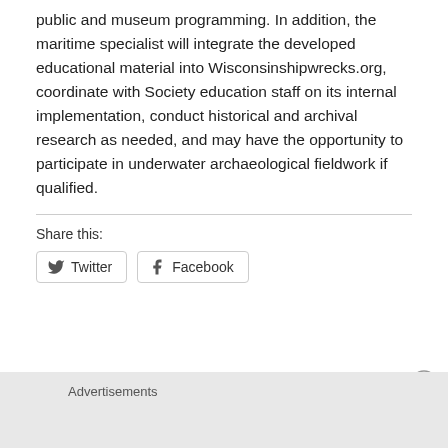public and museum programming. In addition, the maritime specialist will integrate the developed educational material into Wisconsinshipwrecks.org, coordinate with Society education staff on its internal implementation, conduct historical and archival research as needed, and may have the opportunity to participate in underwater archaeological fieldwork if qualified.
Share this:
Twitter  Facebook
Advertisements